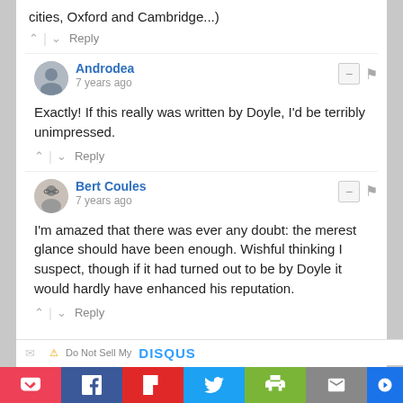cities, Oxford and Cambridge...)
Exactly! If this really was written by Doyle, I'd be terribly unimpressed.
Androdea
7 years ago
Bert Coules
7 years ago
I'm amazed that there was ever any doubt: the merest glance should have been enough. Wishful thinking I suspect, though if it had turned out to be by Doyle it would hardly have enhanced his reputation.